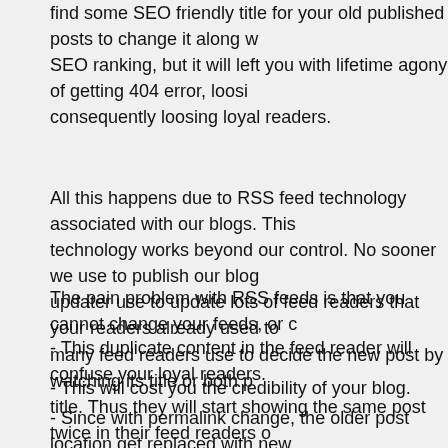find some SEO friendly title for your old published posts to change it along with SEO ranking, but it will left you with lifetime agony of getting 404 error, loosing consequently loosing loyal readers.
All this happens due to RSS feed technology associated with our blogs. This technology works beyond our control. No sooner we use to publish our blog updater use to update lots of feed readers that your readers already used to many feed readers use to decide the new post by watching its title or both p title. Thus they will start showing the same post twice in their feed readers o permalink gets change.
The pain problem with RSS feeds is that you cannot change your feeds, or c
- This duplicate content in the feed reader will confuse your loyal readers.
- This will cost you the credibility of your blog.
- Since with permalink change, the older post location get replaced with new older one, this would result in 404 error page or page not found.
The only solution to avoid such things is: